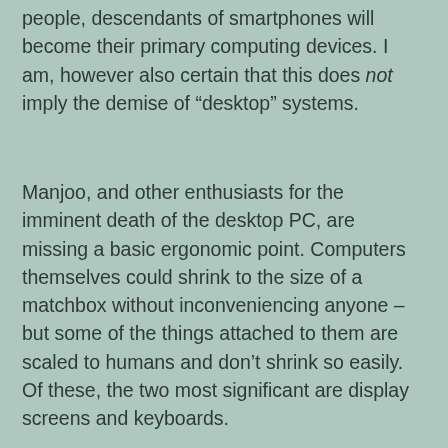people, descendants of smartphones will become their primary computing devices. I am, however also certain that this does not imply the demise of “desktop” systems.
Manjoo, and other enthusiasts for the imminent death of the desktop PC, are missing a basic ergonomic point. Computers themselves could shrink to the size of a matchbox without inconveniencing anyone – but some of the things attached to them are scaled to humans and don’t shrink so easily. Of these, the two most significant are display screens and keyboards.